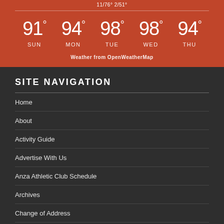Weather from OpenWeatherMap
[Figure (infographic): 5-day weather forecast showing temperatures: 91° SUN, 94° MON, 98° TUE, 98° WED, 94° THU]
SITE NAVIGATION
Home
About
Activity Guide
Advertise With Us
Anza Athletic Club Schedule
Archives
Change of Address
Club & Organizations Daily Activities and Special Events
Email Signup